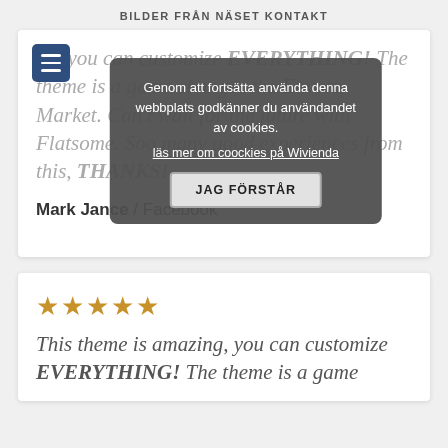BILDER FRÅN NÄSET   KONTAKT
[Figure (screenshot): Cookie consent modal dialog with text 'Genom att fortsätta använda denna webbplats godkänner du användandet av cookies. läs mer om coockies på Wivienda' and a button 'JAG FÖRSTÅR']
...ng, you can customize EVERYTHING! The theme is a game changer the Envato Market. Can't wait for the future with Flatsome. Soo many good experiences from this, THANKS!
Mark Jance / Facebook
★★★★★
This theme is amazing, you can customize EVERYTHING! The theme is a game